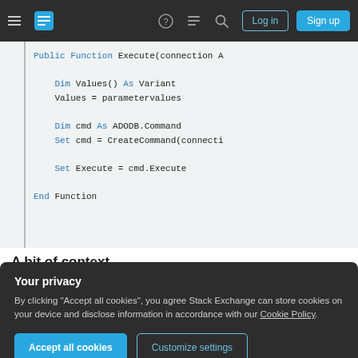Stack Exchange navigation bar with Log in and Sign up buttons
[Figure (screenshot): Code block showing VBA/VB function: Public Function Execute(connection A ... Dim Values() As Variant / Values = parametervalues / Dim cmd As ADODB.Command / Set cmd = CreateCommand(connecti... / Set Execute = cmd.Execute / End Function]
A bit of context
Your privacy
By clicking "Accept all cookies", you agree Stack Exchange can store cookies on your device and disclose information in accordance with our Cookie Policy.
Accept all cookies   Customize settings
be closed.